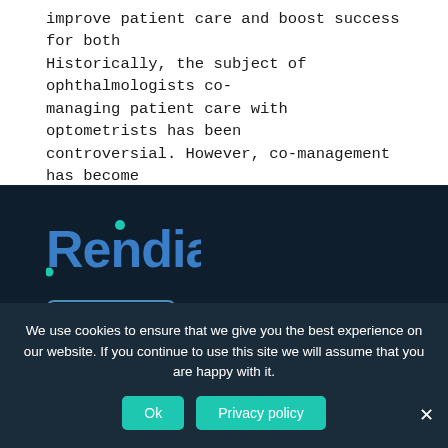improve patient care and boost success for both Historically, the subject of ophthalmologists co-managing patient care with optometrists has been controversial. However, co-management has become more accepted and...
[Figure (logo): Rendia logo in blue text with teal accent dots on dark navy background]
[Figure (other): Outlined rectangle button on dark navy background]
We use cookies to ensure that we give you the best experience on our website. If you continue to use this site we will assume that you are happy with it.
Ok
Privacy policy